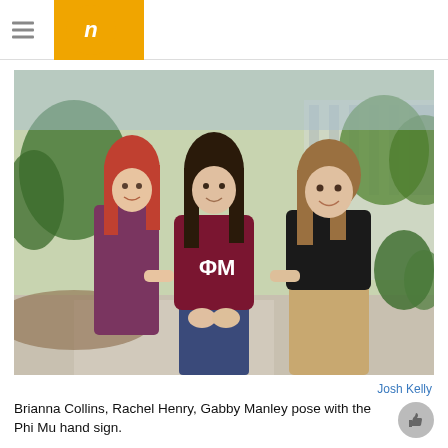n
[Figure (photo): Three young women standing outdoors on a campus walkway, posing together. The middle woman wears a maroon Phi Mu (ΦΜ) sorority t-shirt. All three are forming a hand sign together. Trees and a modern building are visible in the background.]
Josh Kelly
Brianna Collins, Rachel Henry, Gabby Manley pose with the Phi Mu hand sign.